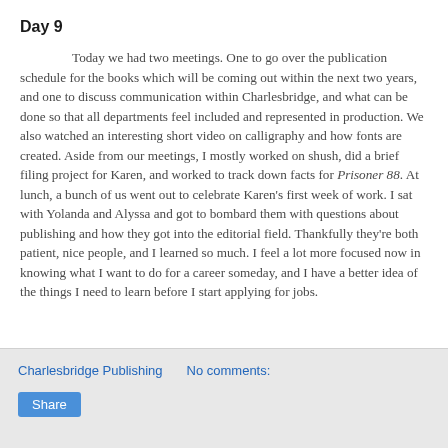Day 9
Today we had two meetings. One to go over the publication schedule for the books which will be coming out within the next two years, and one to discuss communication within Charlesbridge, and what can be done so that all departments feel included and represented in production. We also watched an interesting short video on calligraphy and how fonts are created. Aside from our meetings, I mostly worked on shush, did a brief filing project for Karen, and worked to track down facts for Prisoner 88. At lunch, a bunch of us went out to celebrate Karen's first week of work. I sat with Yolanda and Alyssa and got to bombard them with questions about publishing and how they got into the editorial field. Thankfully they're both patient, nice people, and I learned so much. I feel a lot more focused now in knowing what I want to do for a career someday, and I have a better idea of the things I need to learn before I start applying for jobs.
Charlesbridge Publishing   No comments:
Share